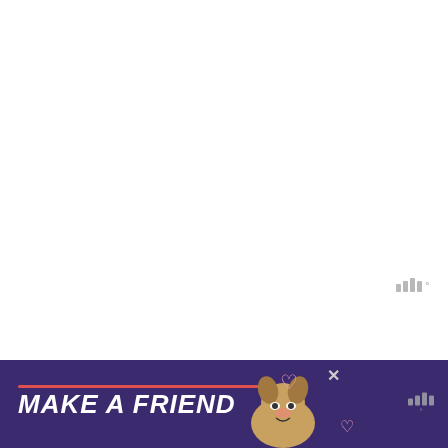[Figure (screenshot): Mostly blank white area — appears to be a music sheet or app page with content not fully loaded]
[Figure (logo): Musescore or similar music app watermark logo — four vertical bars of increasing height with a degree symbol]
Download Morning Has Broken in C
[Figure (photo): Advertisement banner with purple background showing 'MAKE A FRIEND' text with a dog photo and hearts, with a close button and logo on the right]